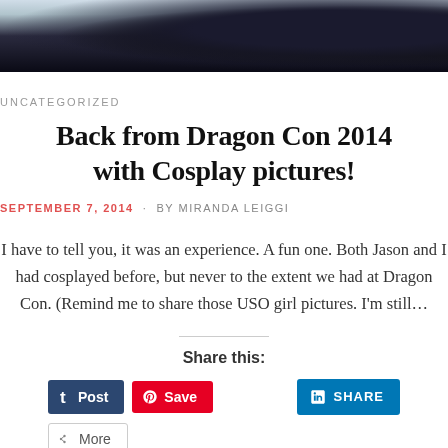[Figure (photo): Partial photo at top of page showing dark object (likely a bag or costume piece) against a light/snowy background]
UNCATEGORIZED
Back from Dragon Con 2014 with Cosplay pictures!
SEPTEMBER 7, 2014 · BY MIRANDA LEIGGI
I have to tell you, it was an experience. A fun one. Both Jason and I had cosplayed before, but never to the extent we had at Dragon Con. (Remind me to share those USO girl pictures. I'm still…
Share this: